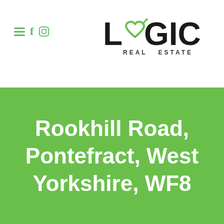[Figure (logo): Logic Real Estate logo with green heart incorporated into the letter O, bold black text LOGIC, subtitle REAL ESTATE in spaced capitals]
[Figure (infographic): Navigation icons: hamburger menu (three green lines), Facebook f icon in green, Instagram camera icon in green outline]
Rookhill Road, Pontefract, West Yorkshire, WF8